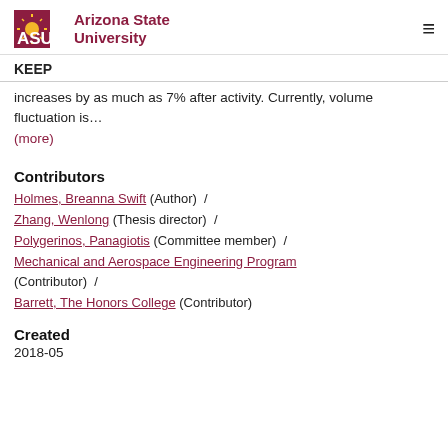Arizona State University — KEEP
increases by as much as 7% after activity. Currently, volume fluctuation is…
(more)
Contributors
Holmes, Breanna Swift (Author)  /
Zhang, Wenlong (Thesis director)  /
Polygerinos, Panagiotis (Committee member)  /
Mechanical and Aerospace Engineering Program (Contributor)  /
Barrett, The Honors College (Contributor)
Created
2018-05